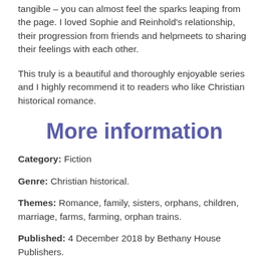tangible – you can almost feel the sparks leaping from the page. I loved Sophie and Reinhold's relationship, their progression from friends and helpmeets to sharing their feelings with each other.
This truly is a beautiful and thoroughly enjoyable series and I highly recommend it to readers who like Christian historical romance.
More information
Category: Fiction
Genre: Christian historical.
Themes: Romance, family, sisters, orphans, children, marriage, farms, farming, orphan trains.
Published: 4 December 2018 by Bethany House Publishers.